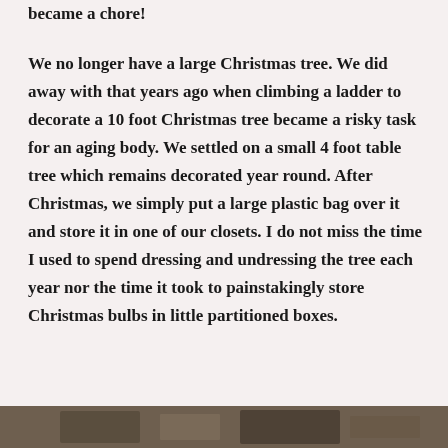became a chore!
We no longer have a large Christmas tree. We did away with that years ago when climbing a ladder to decorate a 10 foot Christmas tree became a risky task for an aging body. We settled on a small 4 foot table tree which remains decorated year round. After Christmas, we simply put a large plastic bag over it and store it in one of our closets. I do not miss the time I used to spend dressing and undressing the tree each year nor the time it took to painstakingly store Christmas bulbs in little partitioned boxes.
[Figure (photo): Partial view of a photograph at the bottom of the page, showing a dark/brown scene, possibly an outdoor or indoor setting.]